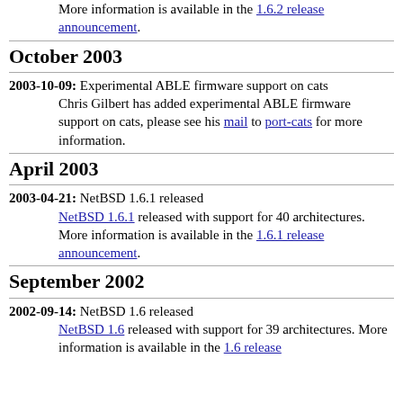More information is available in the 1.6.2 release announcement.
October 2003
2003-10-09: Experimental ABLE firmware support on cats
Chris Gilbert has added experimental ABLE firmware support on cats, please see his mail to port-cats for more information.
April 2003
2003-04-21: NetBSD 1.6.1 released
NetBSD 1.6.1 released with support for 40 architectures. More information is available in the 1.6.1 release announcement.
September 2002
2002-09-14: NetBSD 1.6 released
NetBSD 1.6 released with support for 39 architectures. More information is available in the 1.6 release announcement.